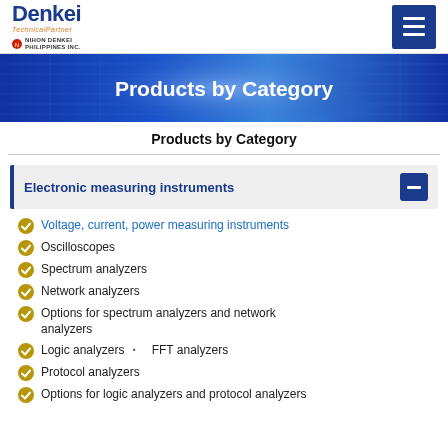Denkei Technical Partner — NIHON DENKEI PHILIPPINES INC.
[Figure (screenshot): Blue banner with text Products by Category]
Products by Category
Electronic measuring instruments
Voltage, current, power measuring instruments
Oscilloscopes
Spectrum analyzers
Network analyzers
Options for spectrum analyzers and network analyzers
Logic analyzers・FFT analyzers
Protocol analyzers
Options for logic analyzers and protocol analyzers